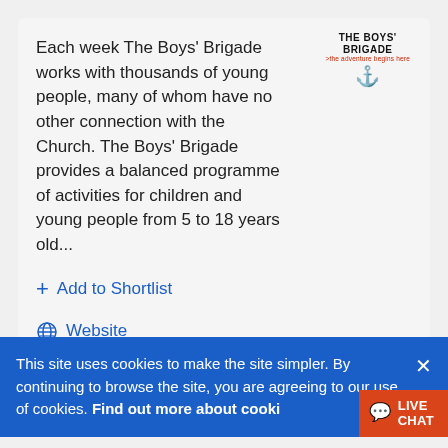[Figure (logo): The Boys' Brigade logo with text 'THE BOYS' BRIGADE' and tagline '>the adventure begins here' with an anchor/shield emblem]
Each week The Boys' Brigade works with thousands of young people, many of whom have no other connection with the Church. The Boys' Brigade provides a balanced programme of activities for children and young people from 5 to 18 years old...
+ Add to Shortlist
Website
Trinity Road, Wandsworth Common, London, SW17 7HW
This site uses cookies to make the site simpler. By continuing to browse the site, you are agreeing to our use of cookies. Find out more about cookies